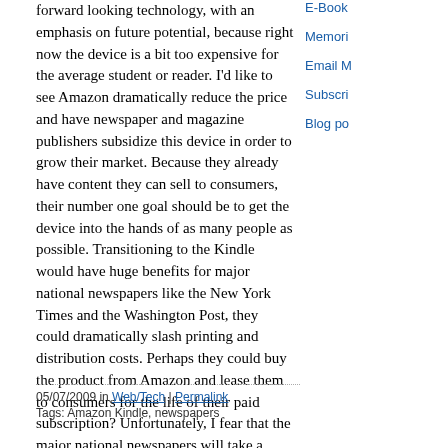forward looking technology, with an emphasis on future potential, because right now the device is a bit too expensive for the average student or reader. I'd like to see Amazon dramatically reduce the price and have newspaper and magazine publishers subsidize this device in order to grow their market. Because they already have content they can sell to consumers, their number one goal should be to get the device into the hands of as many people as possible. Transitioning to the Kindle would have huge benefits for major national newspapers like the New York Times and the Washington Post, they could dramatically slash printing and distribution costs. Perhaps they could buy the product from Amazon and lease them to consumers for the life of their paid subscription? Unfortunately, I fear that the major national newspapers will take a "wait and see" approach to this new technology and the moment will pass them by. Still, no one will be able to say, when the last print newspaper folds, that there were no alternatives. And it probably goes without saying that at some future point of technological convergence the Kindle will morph with the new netbooks and become an even better tool for reading and writing. Let the new age of letters begin.
E-Book
Memori
Email M
Subscri
Blog po
05/07/2009 in Web/Tech | Permalink
Tags: Amazon Kindle, newspapers